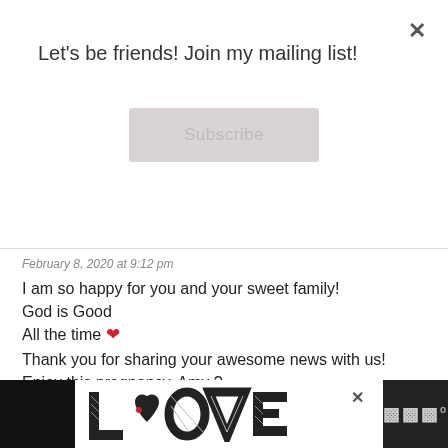Let's be friends! Join my mailing list!
Subscribe
February 8, 2020 at 9:12 pm
I am so happy for you and your sweet family! God is Good All the time ❤ Thank you for sharing your awesome news with us! Enjoy this pregnancy, Amy ?
CINDY AGUAYO
Reply
February 8, 2020 at 6:13 pm
Congratulations again for your baby and take
[Figure (advertisement): LOOVE advertisement banner with decorative black and white letter art spelling LOOVE with a red heart detail, on dark background with a close X button and a logo icon on the right.]